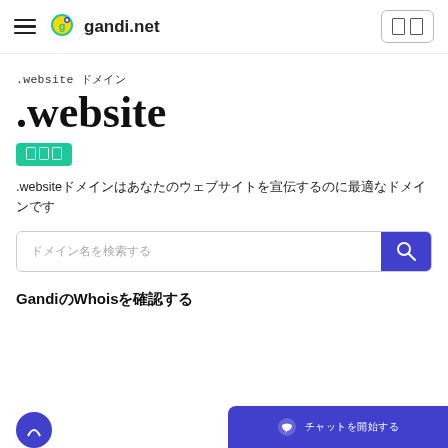gandi.net
.website ドメイン
.website
新着
.websiteドメインはあなたのウェブサイトを宣伝するのに最適なドメインです
ドメイン名を検索する
GandiのWhoisを確認する